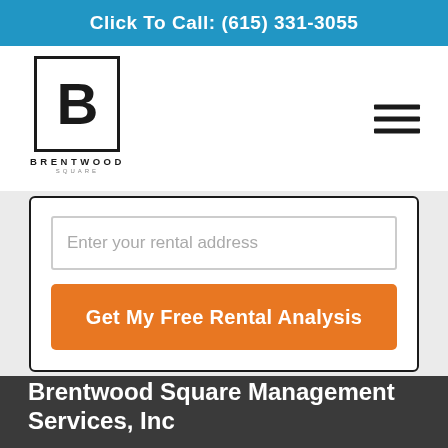Click To Call: (615) 331-3055
[Figure (logo): Brentwood Square logo: bold letter B inside a square border, with BRENTWOOD in spaced caps and SQUARE below]
Enter your rental address
Get My Free Rental Analysis
Brentwood Square Management Services, Inc